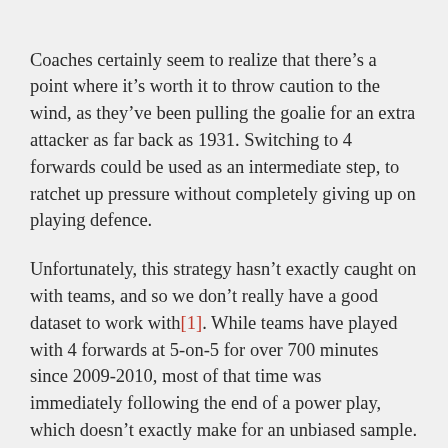Coaches certainly seem to realize that there’s a point where it’s worth it to throw caution to the wind, as they’ve been pulling the goalie for an extra attacker as far back as 1931. Switching to 4 forwards could be used as an intermediate step, to ratchet up pressure without completely giving up on playing defence.
Unfortunately, this strategy hasn’t exactly caught on with teams, and so we don’t really have a good dataset to work with[1]. While teams have played with 4 forwards at 5-on-5 for over 700 minutes since 2009-2010, most of that time was immediately following the end of a power play, which doesn’t exactly make for an unbiased sample.
Given our limited data then, how can we evaluate whether this strategy might work, without having to convince a handful of coaches to try it long enough to get a sufficient sample?